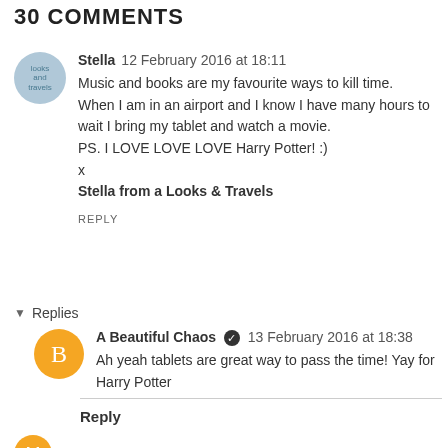30 COMMENTS
Stella  12 February 2016 at 18:11
Music and books are my favourite ways to kill time.
When I am in an airport and I know I have many hours to wait I bring my tablet and watch a movie.
PS. I LOVE LOVE LOVE Harry Potter! :)
x
Stella from a Looks & Travels
REPLY
▾ Replies
A Beautiful Chaos ✔ 13 February 2016 at 18:38
Ah yeah tablets are great way to pass the time! Yay for Harry Potter
Reply